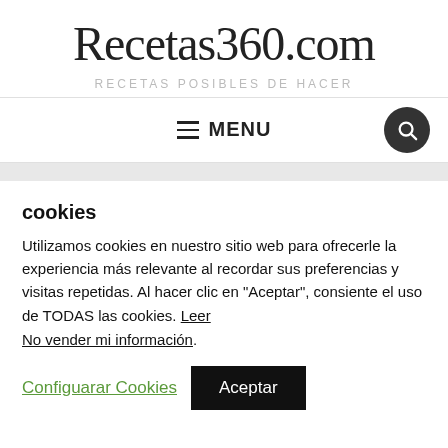Recetas360.com
RECETAS POSIBLES DE HACER
≡ MENU
cookies
Utilizamos cookies en nuestro sitio web para ofrecerle la experiencia más relevante al recordar sus preferencias y visitas repetidas. Al hacer clic en "Aceptar", consiente el uso de TODAS las cookies. Leer
No vender mi información.
Configuarar Cookies    Aceptar